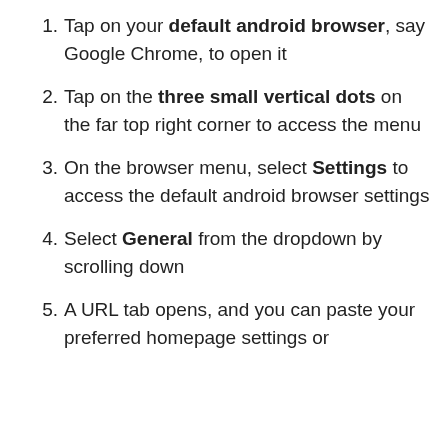Tap on your default android browser, say Google Chrome, to open it
Tap on the three small vertical dots on the far top right corner to access the menu
On the browser menu, select Settings to access the default android browser settings
Select General from the dropdown by scrolling down
A URL tab opens, and you can paste your preferred homepage settings or